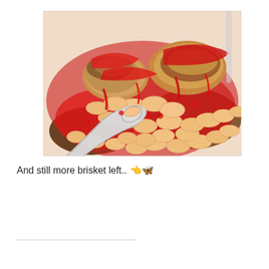[Figure (photo): Close-up photo of baked beans with pieces of brisket on toast, topped with red tomato sauce, shown on a white plate with a spoon visible]
And still more brisket left.. 👈🦋